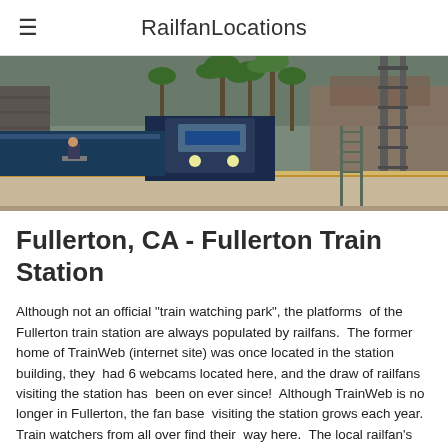RailfanLocations
[Figure (photo): A train approaching a platform at Fullerton Train Station, with palm trees and a building visible in the background. A person is seated on a bench on the platform.]
Fullerton, CA - Fullerton Train Station
Although not an official "train watching park", the platforms  of the Fullerton train station are always populated by railfans.  The former home of TrainWeb (internet site) was once located in the station building, they  had 6 webcams located here, and the draw of railfans visiting the station has  been on ever since!  Although TrainWeb is no longer in Fullerton, the fan base  visiting the station grows each year. Train watchers from all over find their  way here.  The local railfan's